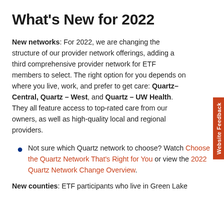What's New for 2022
New networks: For 2022, we are changing the structure of our provider network offerings, adding a third comprehensive provider network for ETF members to select. The right option for you depends on where you live, work, and prefer to get care: Quartz–Central, Quartz – West, and Quartz – UW Health. They all feature access to top-rated care from our owners, as well as high-quality local and regional providers.
Not sure which Quartz network to choose? Watch Choose the Quartz Network That's Right for You or view the 2022 Quartz Network Change Overview.
New counties: ETF participants who live in Green Lake